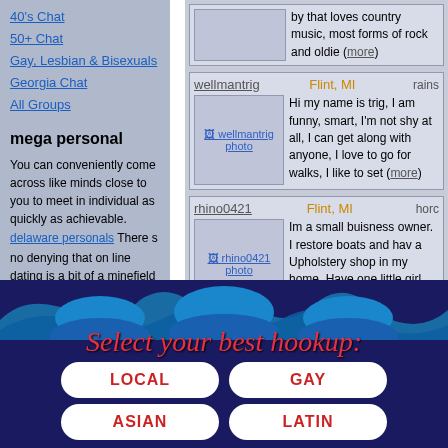40's Chat
50+ Chat
Gay, Lesbian & Bisexuals
Georgia Chat
All Groups
mega personal
You can conveniently come across like minds close to you to meet in individual as quickly as achievable. delaware personals There s no denying that on line dating is a bit of a minefield even during standard occasions so throw in a international pandemic and it is going to be even a lot more of a
[Figure (screenshot): oldfashionmora profile photo placeholder]
by that loves country music, most forms of rock and oldie (more)
wellmantrig   Flint, MI
[Figure (screenshot): wellmantrig profile photo placeholder]
Hi my name is trig, I am funny, smart, I'm not shy at all, I can get along with anyone, I love to go for walks, I like to set (more)
rhino0421   Flint, MI
[Figure (screenshot): rhino0421 profile photo placeholder]
Im a small buisness owner. I restore boats and hav a Upholstery shop in my home. Have one little girl Piper. She is 5. Live a (more)
[Figure (infographic): Ad banner: Select your best hookup with LOCAL, GAY, ASIAN, LATIN buttons on dark blue background with wave design]